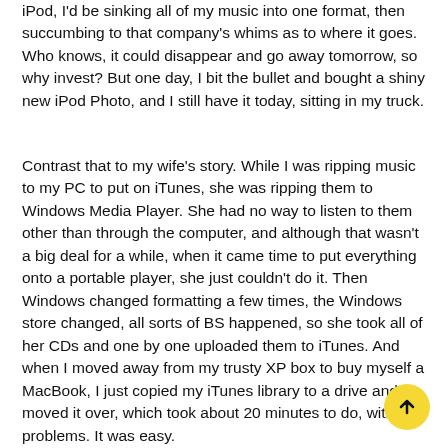iPod, I'd be sinking all of my music into one format, then succumbing to that company's whims as to where it goes. Who knows, it could disappear and go away tomorrow, so why invest? But one day, I bit the bullet and bought a shiny new iPod Photo, and I still have it today, sitting in my truck.
Contrast that to my wife's story. While I was ripping music to my PC to put on iTunes, she was ripping them to Windows Media Player. She had no way to listen to them other than through the computer, and although that wasn't a big deal for a while, when it came time to put everything onto a portable player, she just couldn't do it. Then Windows changed formatting a few times, the Windows store changed, all sorts of BS happened, so she took all of her CDs and one by one uploaded them to iTunes. And when I moved away from my trusty XP box to buy myself a MacBook, I just copied my iTunes library to a drive and moved it over, which took about 20 minutes to do, with no problems. It was easy.